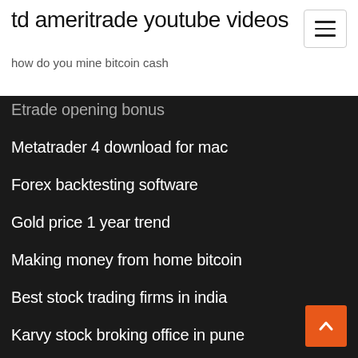td ameritrade youtube videos
how do you mine bitcoin cash
Etrade opening bonus
Metatrader 4 download for mac
Forex backtesting software
Gold price 1 year trend
Making money from home bitcoin
Best stock trading firms in india
Karvy stock broking office in pune
Nvcn stock price target
Short stock long call
Youtube bitcoin for beginners
Forex trading accounts